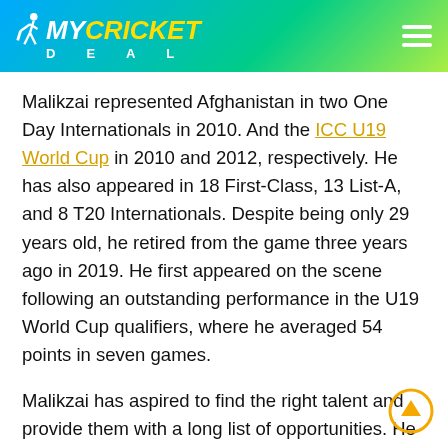MYCRICKETDEAL
Malikzai represented Afghanistan in two One Day Internationals in 2010. And the ICC U19 World Cup in 2010 and 2012, respectively. He has also appeared in 18 First-Class, 13 List-A, and 8 T20 Internationals. Despite being only 29 years old, he retired from the game three years ago in 2019. He first appeared on the scene following an outstanding performance in the U19 World Cup qualifiers, where he averaged 54 points in seven games.
Malikzai has aspired to find the right talent and provide them with a long list of opportunities. He went on to say that long-term goals will also need to be worked on in order to move the country forward in terms of performance.
"We have a busy 2022 ahead of us, and as a team, we will